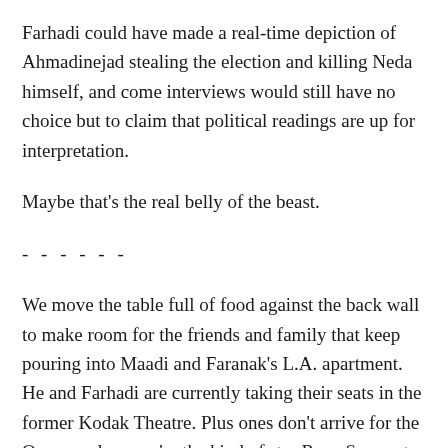Farhadi could have made a real-time depiction of Ahmadinejad stealing the election and killing Neda himself, and come interviews would still have no choice but to claim that political readings are up for interpretation.
Maybe that's the real belly of the beast.
- - - - - -
We move the table full of food against the back wall to make room for the friends and family that keep pouring into Maadi and Faranak's L.A. apartment. He and Farhadi are currently taking their seats in the former Kodak Theatre. Plus ones don't arrive for the Oscars unless you're the kind of star Ryan Seacrest wants to